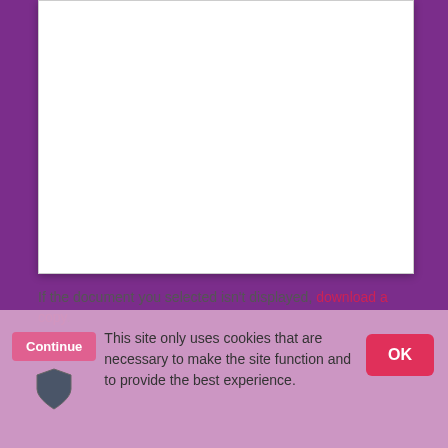[Figure (screenshot): White document viewer area embedded in a purple background webpage]
If the document you selected isn't displayed, download a copy.
This site only uses cookies that are necessary to make the site function and to provide the best experience.